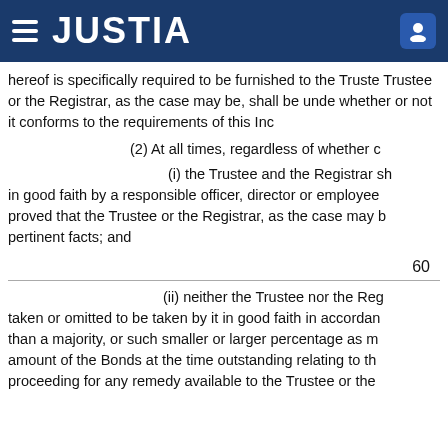JUSTIA
hereof is specifically required to be furnished to the Trustee or the Registrar, as the case may be, shall be under no duty to inquire whether or not it conforms to the requirements of this Ind
(2) At all times, regardless of whether c
(i) the Trustee and the Registrar sh in good faith by a responsible officer, director or employee proved that the Trustee or the Registrar, as the case may b pertinent facts; and
60
(ii) neither the Trustee nor the Reg taken or omitted to be taken by it in good faith in accordan than a majority, or such smaller or larger percentage as m amount of the Bonds at the time outstanding relating to th proceeding for any remedy available to the Trustee or the